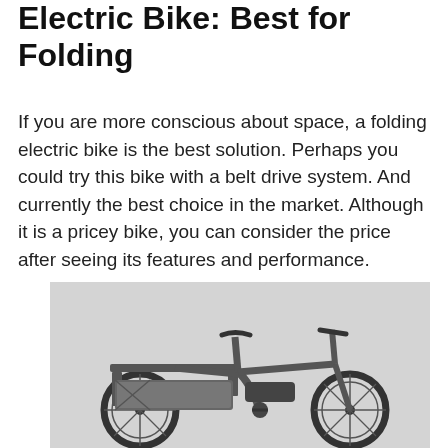Electric Bike: Best for Folding
If you are more conscious about space, a folding electric bike is the best solution. Perhaps you could try this bike with a belt drive system. And currently the best choice in the market. Although it is a pricey bike, you can consider the price after seeing its features and performance.
[Figure (photo): A folding electric cargo bike with a rear rack/cargo platform, small wheels, and a dark gray/olive frame, shown in side profile on a light gray background.]